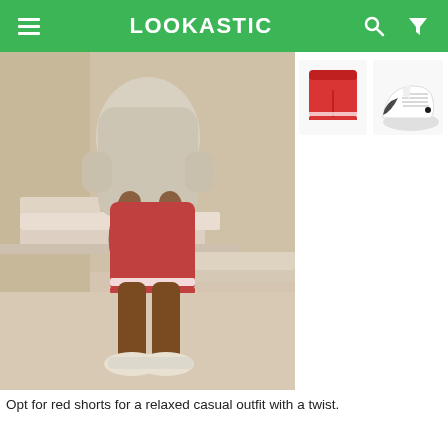LOOKASTIC
[Figure (photo): Man wearing beige sweatshirt and red shorts with white sneakers, standing in a neutral-toned room with steps and benches]
[Figure (photo): Product thumbnail: red shorts]
[Figure (photo): Product thumbnail: white low-top sneakers]
Opt for red shorts for a relaxed casual outfit with a twist.